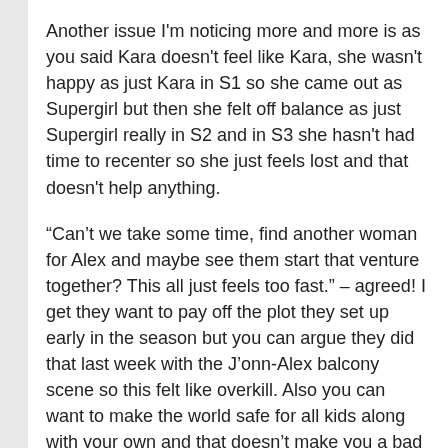Another issue I'm noticing more and more is as you said Kara doesn't feel like Kara, she wasn't happy as just Kara in S1 so she came out as Supergirl but then she felt off balance as just Supergirl really in S2 and in S3 she hasn't had time to recenter so she just feels lost and that doesn't help anything.
“Can’t we take some time, find another woman for Alex and maybe see them start that venture together? This all just feels too fast.” – agreed! I get they want to pay off the plot they set up early in the season but you can argue they did that last week with the J’onn-Alex balcony scene so this felt like overkill. Also you can want to make the world safe for all kids along with your own and that doesn’t make you a bad person so I really hope they don’t desk Alex in the future!
I hope they decide to ditch “Lena doesn’t know” in